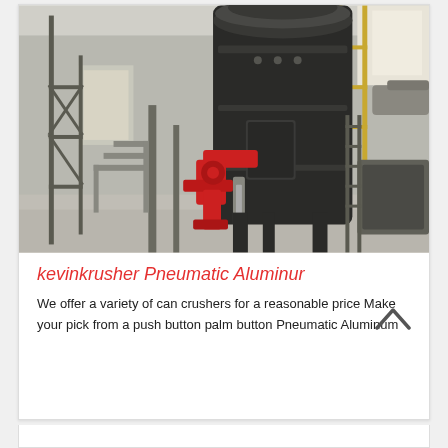[Figure (photo): Industrial pneumatic aluminum can crusher machine inside a factory/warehouse. Large dark cylindrical vessel with red mechanical arm/actuator components, metal scaffolding, staircases, and industrial equipment in background.]
kevinkrusher Pneumatic Aluminur
We offer a variety of can crushers for a reasonable price Make your pick from a push button palm button Pneumatic Aluminum